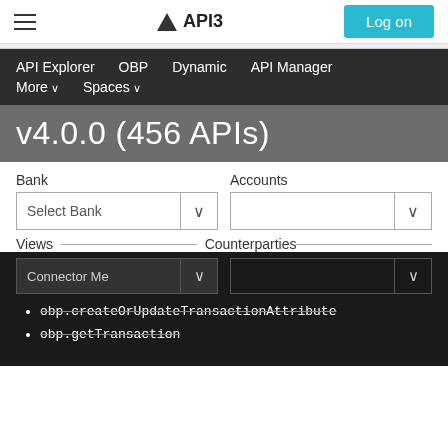API3
API Explorer   OBP   Dynamic   API Manager   More ∨   Spaces ∨
v4.0.0 (456 APIs)
Bank   Accounts   Select Bank   Views   Counterparties
Connector Methods (dropdown)
obp.createOrUpdateTransactionAttribute
obp.getTransaction